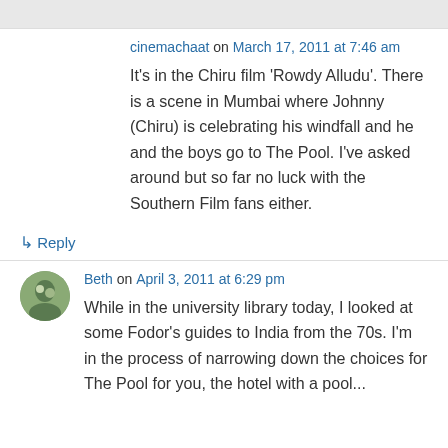cinemachaat on March 17, 2011 at 7:46 am
It's in the Chiru film 'Rowdy Alludu'. There is a scene in Mumbai where Johnny (Chiru) is celebrating his windfall and he and the boys go to The Pool. I've asked around but so far no luck with the Southern Film fans either.
↳ Reply
Beth on April 3, 2011 at 6:29 pm
While in the university library today, I looked at some Fodor's guides to India from the 70s. I'm in the process of narrowing down the choices for The Pool for you, the hotel with a pool...